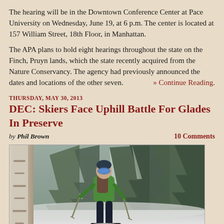The hearing will be in the Downtown Conference Center at Pace University on Wednesday, June 19, at 6 p.m. The center is located at 157 William Street, 18th Floor, in Manhattan.
The APA plans to hold eight hearings throughout the state on the Finch, Pruyn lands, which the state recently acquired from the Nature Conservancy. The agency had previously announced the dates and locations of the other seven. » Continue Reading.
THURSDAY, MAY 30, 2013
DEC: Skiers Face Uphill Battle For Glades In Preserve
by Phil Brown   10 Comments
[Figure (photo): A skier in a green jacket and blue goggles walking uphill through a snowy forest with ski poles, surrounded by snow-covered trees]